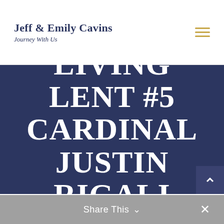Jeff & Emily Cavins Journey With Us
LIVING LENT #5 CARDINAL JUSTIN RIGALI
Share This